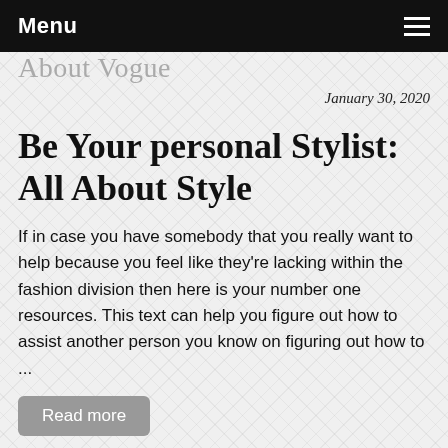Menu
About Vogue
January 30, 2020
Be Your personal Stylist: All About Style
If in case you have somebody that you really want to help because you feel like they're lacking within the fashion division then here is your number one resources. This text can help you figure out how to assist another person you know on figuring out how to ...
Read more